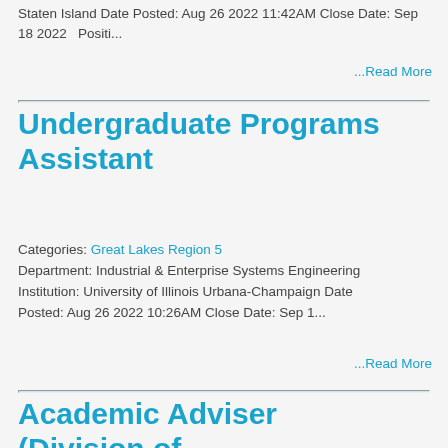Staten Island Date Posted: Aug 26 2022 11:42AM Close Date: Sep 18 2022   Positi...
...Read More
Undergraduate Programs Assistant
Categories: Great Lakes Region 5
Department: Industrial & Enterprise Systems Engineering
Institution: University of Illinois Urbana-Champaign Date Posted: Aug 26 2022 10:26AM Close Date: Sep 1...
...Read More
Academic Adviser (Division of